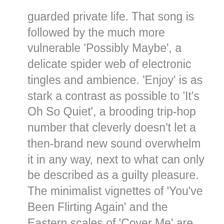guarded private life. That song is followed by the much more vulnerable 'Possibly Maybe', a delicate spider web of electronic tingles and ambience. 'Enjoy' is as stark a contrast as possible to 'It's Oh So Quiet', a brooding trip-hop number that cleverly doesn't let a then-brand new sound overwhelm it in any way, next to what can only be described as a guilty pleasure. The minimalist vignettes of 'You've Been Flirting Again' and the Eastern scales of 'Cover Me' are there purely to give the listener some space to gather their thoughts, but are atmospheric enough to retain your attention.